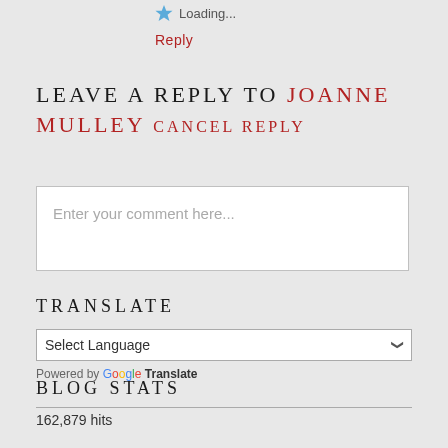Loading...
Reply
LEAVE A REPLY TO JOANNE MULLEY CANCEL REPLY
Enter your comment here...
TRANSLATE
Select Language
Powered by Google Translate
BLOG STATS
162,879 hits